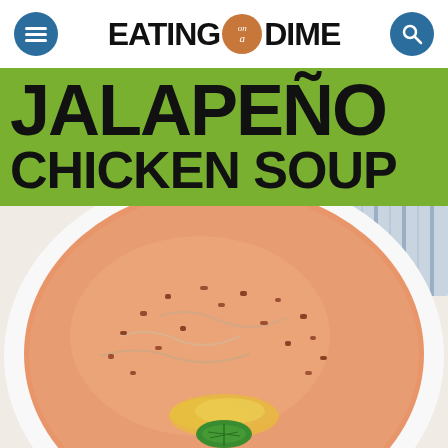EATING on a DIME
JALAPEÑO CHICKEN SOUP
[Figure (photo): Top-down view of a white bowl of creamy jalapeño chicken soup topped with shredded cheese, bacon bits, and a jalapeño slice, with a blue striped cloth napkin in the background.]